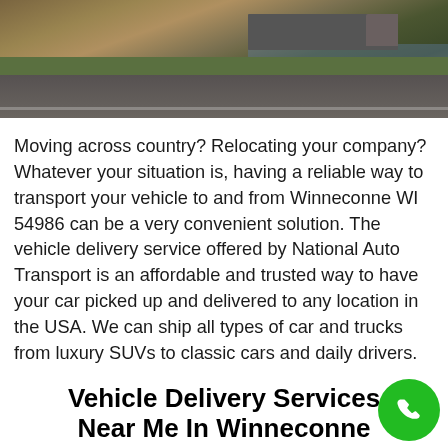[Figure (photo): Aerial or roadside photograph of a truck on a highway with grass and water visible in the background]
Moving across country? Relocating your company? Whatever your situation is, having a reliable way to transport your vehicle to and from Winneconne WI 54986 can be a very convenient solution. The vehicle delivery service offered by National Auto Transport is an affordable and trusted way to have your car picked up and delivered to any location in the USA. We can ship all types of car and trucks from luxury SUVs to classic cars and daily drivers.
Vehicle Delivery Services Near Me In Winneconne